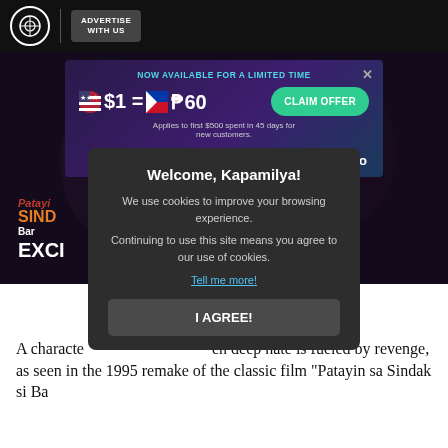ABS-CBN | ADVERTISE WITH US
[Figure (screenshot): Advertisement banner: NOW AVAILABLE FOR A LIMITED TIME. $1 = ₱60. Applies to first $500 spent in 45 days for new customers. CLAIM OFFER. pomelo]
[Figure (screenshot): Video thumbnail showing scenes from the 1995 film Patayin sa Sindak si Barbara with a YouTube play button overlay]
Welcome, Kapamilya! We use cookies to improve your browsing experience. Continuing to use this site means you agree to our use of cookies. Tell me more! I AGREE!
A character... en deep hate is fueled by revenge, as seen in the 1995 remake of the classic film "Patayin sa Sindak si Ba..."